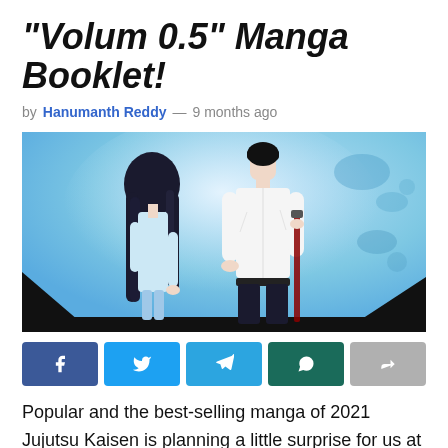"Volum 0.5" Manga Booklet!
by Hanumanth Reddy — 9 months ago
[Figure (illustration): Anime illustration showing two characters from behind — a girl with long dark hair in a light dress and a tall boy in a white shirt holding a red sword/katana, against a blue watercolor-style background]
Popular and the best-selling manga of 2021 Jujutsu Kaisen is planning a little surprise for us at the end of